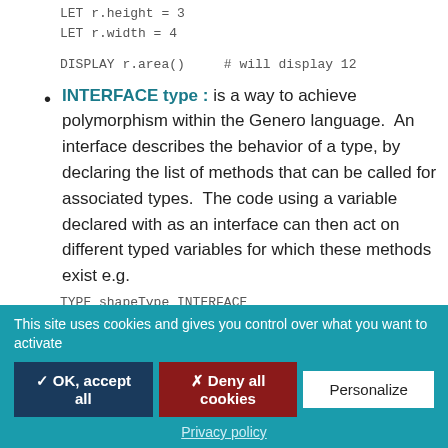LET r.height = 3
LET r.width = 4
DISPLAY r.area()    # will display 12
INTERFACE type : is a way to achieve polymorphism within the Genero language.  An interface describes the behavior of a type, by declaring the list of methods that can be called for associated types.  The code using a variable declared with as an interface can then act on different typed variables for which these methods exist e.g.
TYPE shapeType INTERFACE
area() RETURNS FLOAT
END INTERFACE
This site uses cookies and gives you control over what you want to activate
✓ OK, accept all   ✗ Deny all cookies   Personalize
Privacy policy